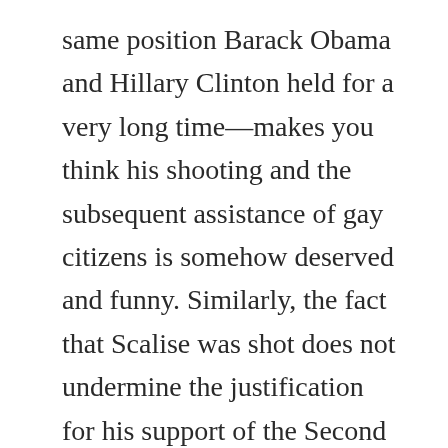same position Barack Obama and Hillary Clinton held for a very long time—makes you think his shooting and the subsequent assistance of gay citizens is somehow deserved and funny. Similarly, the fact that Scalise was shot does not undermine the justification for his support of the Second Amendment, except in the closed minds of Second Amendment opponents. Nor does that make his shooting “ironic,” except to